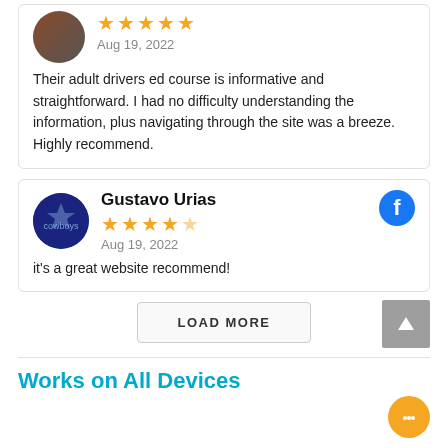Their adult drivers ed course is informative and straightforward. I had no difficulty understanding the information, plus navigating through the site was a breeze. Highly recommend.
Aug 19, 2022
Gustavo Urias
Aug 19, 2022
it's a great website recommend!
LOAD MORE
Works on All Devices